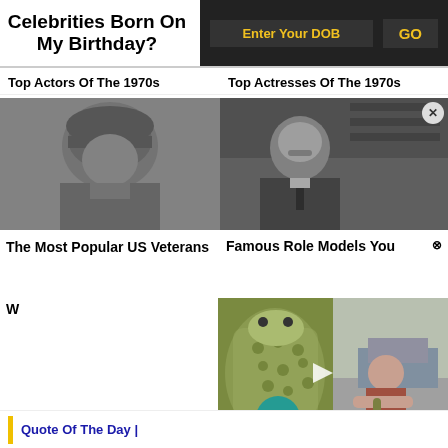Celebrities Born On My Birthday?
Enter Your DOB
GO
Top Actors Of The 1970s
Top Actresses Of The 1970s
[Figure (photo): Black and white photo of a military general wearing a helmet]
The Most Popular US Veterans
[Figure (photo): Black and white photo of a man (Albert Einstein) sitting at a desk in a study]
Famous Role Models You W
[Figure (photo): Video thumbnail showing a snake close-up and a man holding a snake, with Mojo logo]
Quote Of The Day |